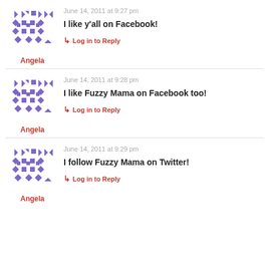[Figure (illustration): Purple geometric avatar icon for user Angela]
Angela
June 14, 2011 at 9:27 pm
I like y'all on Facebook!
Log in to Reply
[Figure (illustration): Purple geometric avatar icon for user Angela]
Angela
June 14, 2011 at 9:28 pm
I like Fuzzy Mama on Facebook too!
Log in to Reply
[Figure (illustration): Purple geometric avatar icon for user Angela]
Angela
June 14, 2011 at 9:29 pm
I follow Fuzzy Mama on Twitter!
Log in to Reply